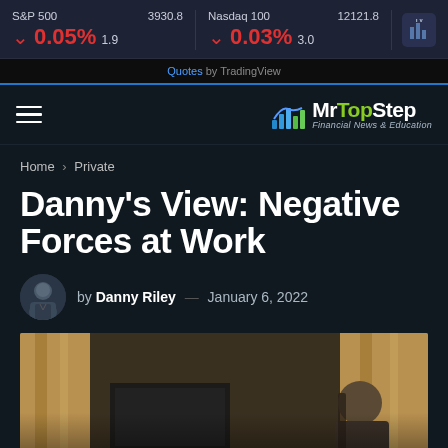S&P 500  3930.8  ▼ 0.05%  1.9  |  Nasdaq 100  12121.8  ▼ 0.03%  3.0
Quotes by TradingView
[Figure (logo): MrTopStep Financial News & Education logo with green bar chart icon]
Home > Private
Danny's View: Negative Forces at Work
by Danny Riley — January 6, 2022
[Figure (photo): Photo of a person sitting at a desk with computer monitors, with golden curtains in background]